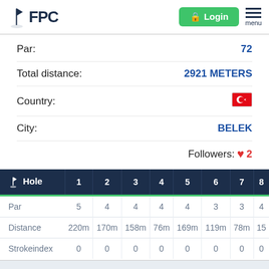FPC — Login menu
Par: 72
Total distance: 2921 METERS
Country: [Turkey flag]
City: BELEK
Followers: ❤ 2
| Hole | 1 | 2 | 3 | 4 | 5 | 6 | 7 | 8 |
| --- | --- | --- | --- | --- | --- | --- | --- | --- |
| Par | 5 | 4 | 4 | 4 | 4 | 3 | 3 | 4 |
| Distance | 220m | 170m | 158m | 76m | 169m | 119m | 78m | 15... |
| Strokeindex | 0 | 0 | 0 | 0 | 0 | 0 | 0 | 0 |